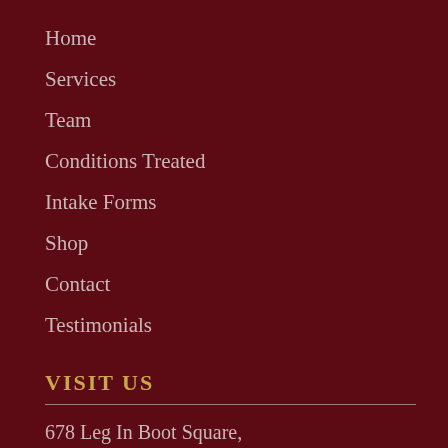Home
Services
Team
Conditions Treated
Intake Forms
Shop
Contact
Testimonials
VISIT US
678 Leg In Boot Square,
Vancouver, BC V5Z 4B4